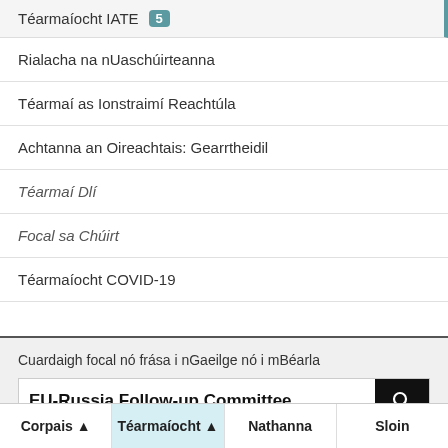Téarmaíocht IATE 5
Rialacha na nUaschúirteanna
Téarmaí as Ionstraimí Reachtúla
Achtanna an Oireachtais: Gearrtheidil
Téarmaí Dlí
Focal sa Chúirt
Téarmaíocht COVID-19
Cuardaigh focal nó frása i nGaeilge nó i mBéarla
EU-Russia Follow-up Committee
Corpais ▲   Téarmaíocht ▲   Nathanna   Sloin